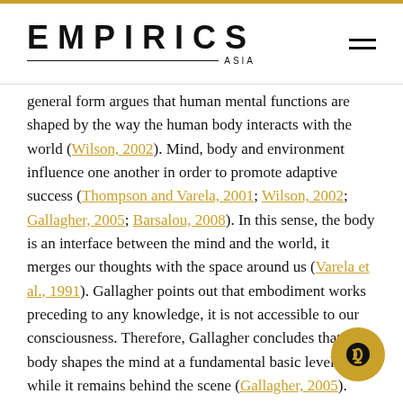EMPIRICS ASIA
general form argues that human mental functions are shaped by the way the human body interacts with the world (Wilson, 2002). Mind, body and environment influence one another in order to promote adaptive success (Thompson and Varela, 2001; Wilson, 2002; Gallagher, 2005; Barsalou, 2008). In this sense, the body is an interface between the mind and the world, it merges our thoughts with the space around us (Varela et al., 1991). Gallagher points out that embodiment works preceding to any knowledge, it is not accessible to our consciousness. Therefore, Gallagher concludes that the body shapes the mind at a fundamental basic level, while it remains behind the scene (Gallagher, 2005).
What are neural substrates of this embodiment?